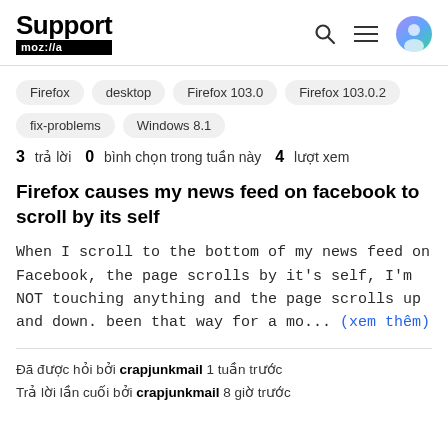Support mozilla // (navigation header with search, menu, avatar icons)
Firefox
desktop
Firefox 103.0
Firefox 103.0.2
fix-problems
Windows 8.1
3 trả lời  0 bình chọn trong tuần này  4 lượt xem
Firefox causes my news feed on facebook to scroll by its self
When I scroll to the bottom of my news feed on Facebook, the page scrolls by it's self, I'm NOT touching anything and the page scrolls up and down. been that way for a mo... (xem thêm)
Đã được hỏi bởi crapjunkmail 1 tuần trước
Trả lời lần cuối bởi crapjunkmail 8 giờ trước